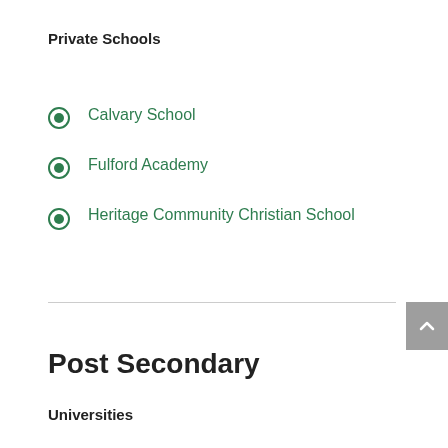Private Schools
Calvary School
Fulford Academy
Heritage Community Christian School
Post Secondary
Universities